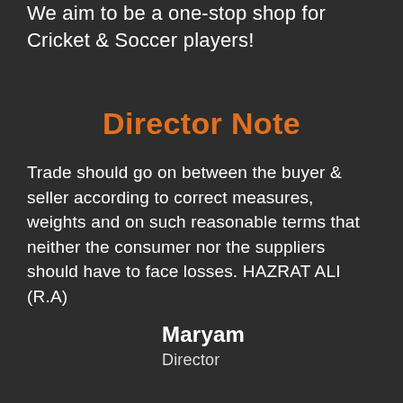We aim to be a one-stop shop for Cricket & Soccer players!
Director Note
Trade should go on between the buyer & seller according to correct measures, weights and on such reasonable terms that neither the consumer nor the suppliers should have to face losses. HAZRAT ALI (R.A)
Maryam
Director